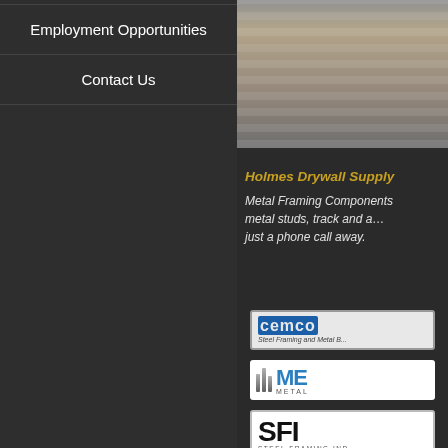Employment Opportunities
Contact Us
[Figure (photo): Stacked metal framing materials or steel sheets in a warehouse/yard setting]
Holmes Drywall Supply
Metal Framing Components metal studs, track and a… just a phone call away.
[Figure (logo): CEMCO logo - Steel Framing and Metal building products]
[Figure (logo): ME Metal logo with bar chart graphic]
[Figure (logo): SFI Steel Framing Industries logo]